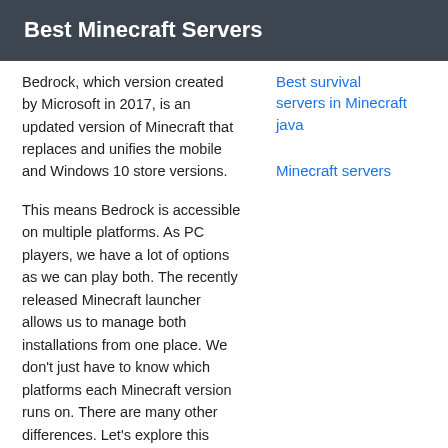Best Minecraft Servers
Bedrock, which version created by Microsoft in 2017, is an updated version of Minecraft that replaces and unifies the mobile and Windows 10 store versions.
This means Bedrock is accessible on multiple platforms. As PC players, we have a lot of options as we can play both. The recently released Minecraft launcher allows us to manage both installations from one place. We don't just have to know which platforms each Minecraft version runs on. There are many other differences. Let's explore this more.
Best survival servers in Minecraft java
Minecraft servers